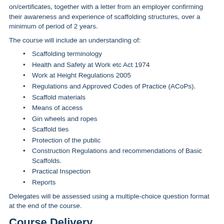on/certificates, together with a letter from an employer confirming their awareness and experience of scaffolding structures, over a minimum of period of 2 years.
The course will include an understanding of:
Scaffolding terminology
Health and Safety at Work etc Act 1974
Work at Height Regulations 2005
Regulations and Approved Codes of Practice (ACoPs).
Scaffold materials
Means of access
Gin wheels and ropes
Scaffold ties
Protection of the public
Construction Regulations and recommendations of Basic Scaffolds.
Practical Inspection
Reports
Delegates will be assessed using a multiple-choice question format at the end of the course.
Course Delivery
This course is delivered at CISRS training centres located across the UK, and centres undergo annual audits to ensure they continually meet CISRS Scheme Criteria.
Individuals who gain a CISRS Scaffolding Inspection Training Scheme (SITS)